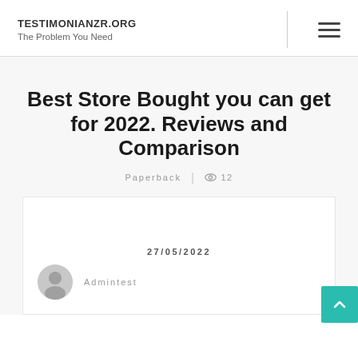TESTIMONIANZR.ORG
The Problem You Need
Best Store Bought you can get for 2022. Reviews and Comparison
Paperback | 👁 12
27/05/2022
Admintest